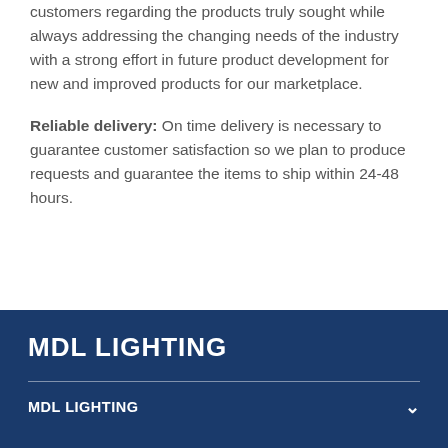customers regarding the products truly sought while always addressing the changing needs of the industry with a strong effort in future product development for new and improved products for our marketplace.
Reliable delivery:  On time delivery is necessary to guarantee customer satisfaction so we plan to produce requests and guarantee the items to ship within 24-48 hours.
MDL LIGHTING
MDL LIGHTING